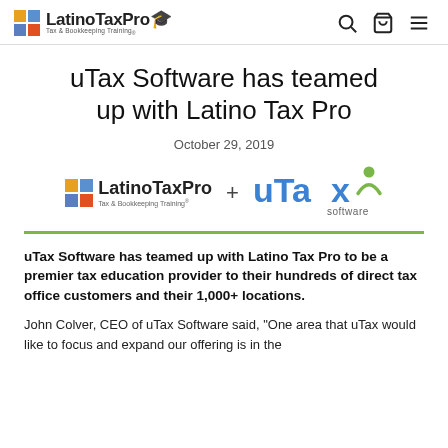LatinoTaxPro — Tax & Bookkeeping Training
uTax Software has teamed up with Latino Tax Pro
October 29, 2019
[Figure (logo): LatinoTaxPro logo plus uTax Software logo with green line separator]
uTax Software has teamed up with Latino Tax Pro to be a premier tax education provider to their hundreds of direct tax office customers and their 1,000+ locations.
John Colver, CEO of uTax Software said, "One area that uTax would like to focus and expand our offering is in the